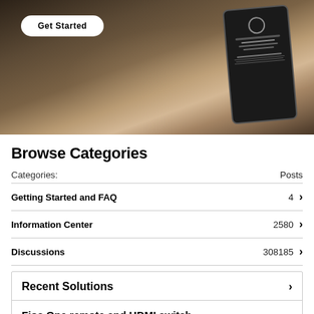[Figure (photo): Hero image showing a person's hand holding a tablet/phone displaying a device diagnostic screen, on a wooden desk with glasses, notebook, and pencil. A 'Get Started' button overlaid in the top-left.]
Browse Categories
| Categories: | Posts |
| --- | --- |
| Getting Started and FAQ | 4 |
| Information Center | 2580 |
| Discussions | 308185 |
Recent Solutions
Fios One remote and HDMI switch